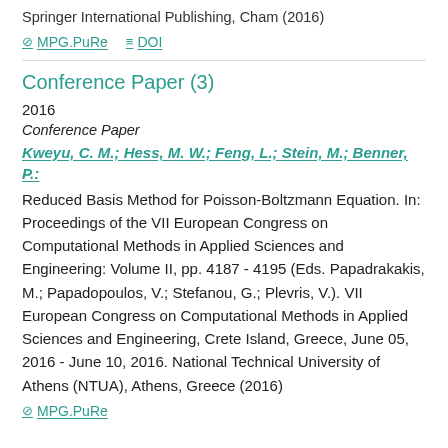Springer International Publishing, Cham (2016)
MPG.PuRe   DOI
Conference Paper (3)
2016
Conference Paper
Kweyu, C. M.; Hess, M. W.; Feng, L.; Stein, M.; Benner, P.:
Reduced Basis Method for Poisson-Boltzmann Equation. In: Proceedings of the VII European Congress on Computational Methods in Applied Sciences and Engineering: Volume II, pp. 4187 - 4195 (Eds. Papadrakakis, M.; Papadopoulos, V.; Stefanou, G.; Plevris, V.). VII European Congress on Computational Methods in Applied Sciences and Engineering, Crete Island, Greece, June 05, 2016 - June 10, 2016. National Technical University of Athens (NTUA), Athens, Greece (2016)
MPG.PuRe